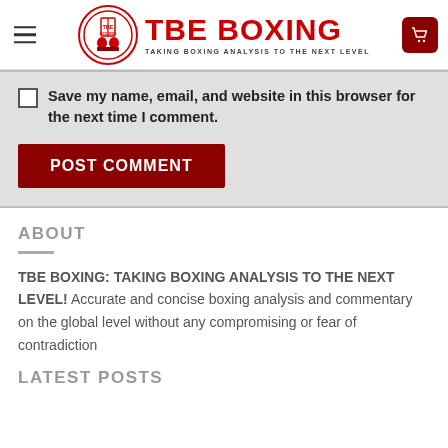[Figure (logo): TBE Boxing logo with circular emblem and red text reading TBE BOXING - Taking Boxing Analysis To The Next Level, with hamburger menu icon on left and shopping cart icon on right]
Save my name, email, and website in this browser for the next time I comment.
POST COMMENT
ABOUT
TBE BOXING: TAKING BOXING ANALYSIS TO THE NEXT LEVEL! Accurate and concise boxing analysis and commentary on the global level without any compromising or fear of contradiction
LATEST POSTS